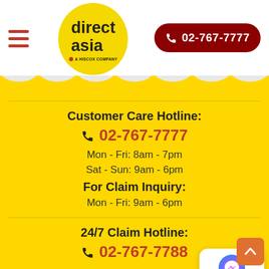[Figure (logo): DirectAsia logo — yellow circle with 'direct asia' text and 'A HISCOX COMPANY' tagline]
02-767-7777
Customer Care Hotline:
02-767-7777
Mon - Fri: 8am - 7pm
Sat - Sun: 9am - 6pm
For Claim Inquiry:
Mon - Fri: 9am - 6pm
24/7 Claim Hotline:
02-767-7788
DirectAsia Head Office: